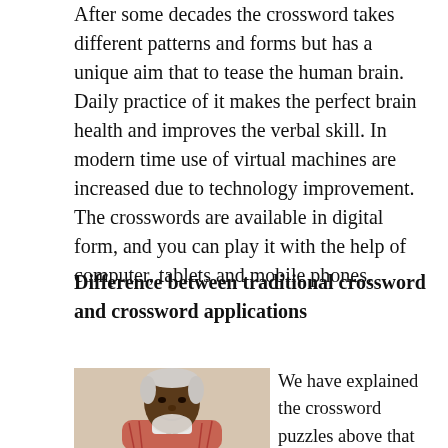After some decades the crossword takes different patterns and forms but has a unique aim that to tease the human brain. Daily practice of it makes the perfect brain health and improves the verbal skill. In modern time use of virtual machines are increased due to technology improvement. The crosswords are available in digital form, and you can play it with the help of computer, tablets and mobile phones.
Difference between traditional crossword and crossword applications
[Figure (photo): An elderly Black man with white hair and beard, smiling, wearing a light shirt and a red patterned cardigan, photographed against a light background.]
We have explained the crossword puzzles above that it is published in the newspaper, but the crossword apps are the digital form of